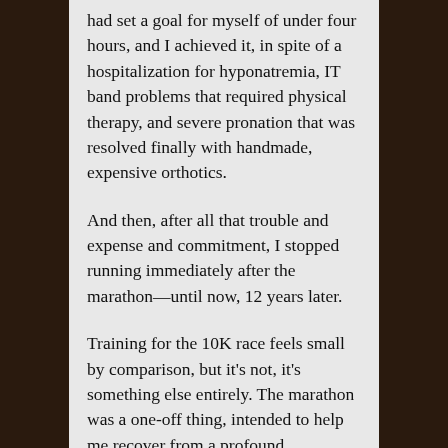had set a goal for myself of under four hours, and I achieved it, in spite of a hospitalization for hyponatremia, IT band problems that required physical therapy, and severe pronation that was resolved finally with handmade, expensive orthotics.
And then, after all that trouble and expense and commitment, I stopped running immediately after the marathon—until now, 12 years later.
Training for the 10K race feels small by comparison, but it's not, it's something else entirely. The marathon was a one-off thing, intended to help me recover from a profound depression following 9/11. This upcoming race is not the point. Running is the point. And I hadn't intended certain side effects of running, but I'm drinking much less alcohol lately (one ice-cold low-alcohol sorghum beer is nothing short of